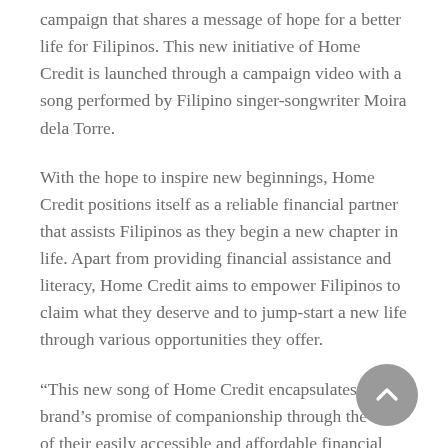campaign that shares a message of hope for a better life for Filipinos. This new initiative of Home Credit is launched through a campaign video with a song performed by Filipino singer-songwriter Moira dela Torre.
With the hope to inspire new beginnings, Home Credit positions itself as a reliable financial partner that assists Filipinos as they begin a new chapter in life. Apart from providing financial assistance and literacy, Home Credit aims to empower Filipinos to claim what they deserve and to jump-start a new life through various opportunities they offer.
“This new song of Home Credit encapsulates the brand’s promise of companionship through the use of their easily accessible and affordable financial products, especially for the underbanked and underserved customers. Furthermore, the song relays